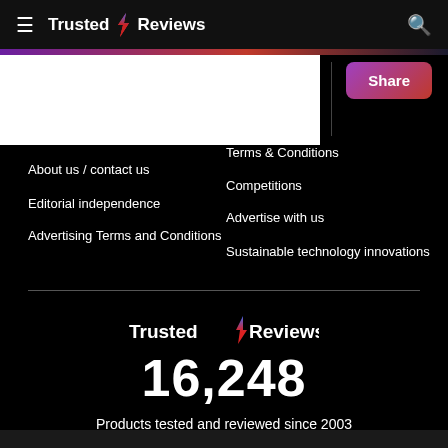Trusted Reviews
2011
Terms & Conditions
About us / contact us
Competitions
Editorial independence
Advertise with us
Advertising Terms and Conditions
Sustainable technology innovations
16,248
Products tested and reviewed since 2003